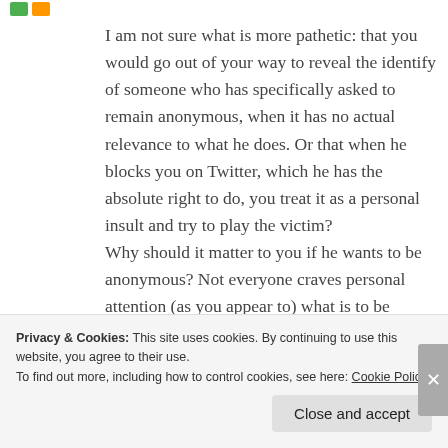I am not sure what is more pathetic: that you would go out of your way to reveal the identify of someone who has specifically asked to remain anonymous, when it has no actual relevance to what he does. Or that when he blocks you on Twitter, which he has the absolute right to do, you treat it as a personal insult and try to play the victim? Why should it matter to you if he wants to be anonymous? Not everyone craves personal attention (as you appear to) what is to be gained from outing him?
Privacy & Cookies: This site uses cookies. By continuing to use this website, you agree to their use. To find out more, including how to control cookies, see here: Cookie Policy